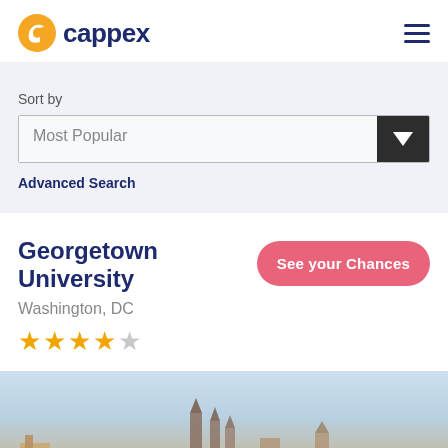cappex
Sort by
Most Popular
Advanced Search
Georgetown University
Washington, DC
See your Chances
[Figure (photo): Georgetown University campus skyline photo showing gothic spires against a light sky]
★★★★☆